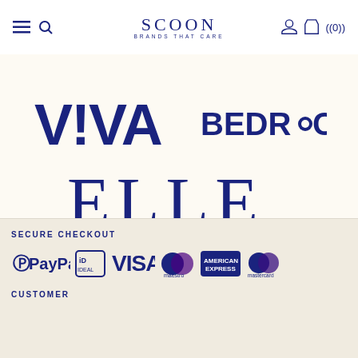SCOON BRANDS THAT CARE
[Figure (logo): VIVA brand logo in dark navy blue bold font]
[Figure (logo): BEDROCK brand logo in dark navy blue bold font]
[Figure (logo): ELLE magazine logo in dark navy blue serif font]
SECURE CHECKOUT
[Figure (infographic): Payment method logos: PayPal, iDEAL, VISA, maestro, American Express, mastercard]
CUSTOMER